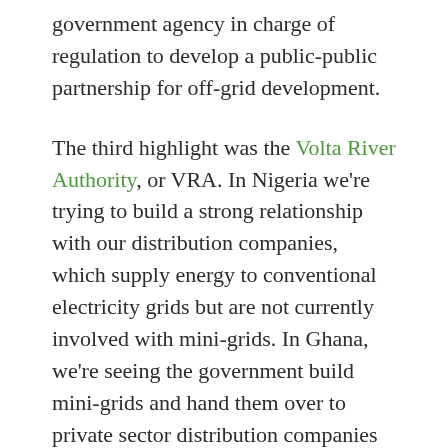government agency in charge of regulation to develop a public-public partnership for off-grid development.
The third highlight was the Volta River Authority, or VRA. In Nigeria we're trying to build a strong relationship with our distribution companies, which supply energy to conventional electricity grids but are not currently involved with mini-grids. In Ghana, we're seeing the government build mini-grids and hand them over to private sector distribution companies to manage, operate and maintain. One example of this is the VRA. It's really fascinating to see this common interest towards realising Ghana's mini-grids initiatives with a view to scaling up renewable energy. We